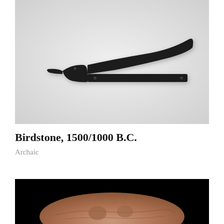[Figure (photo): A black birdstone artifact photographed against a light gray/white background. The stone is shaped like a stylized bird in profile, with a pointed beak pointing left, a raised tail fin curving upward to the right, and two small holes near each end of the flat base.]
Birdstone, 1500/1000 B.C.
Archaic
[Figure (photo): A partial photograph of a reddish-brown stone or rock artifact on a black background, showing only the top portion of the object.]